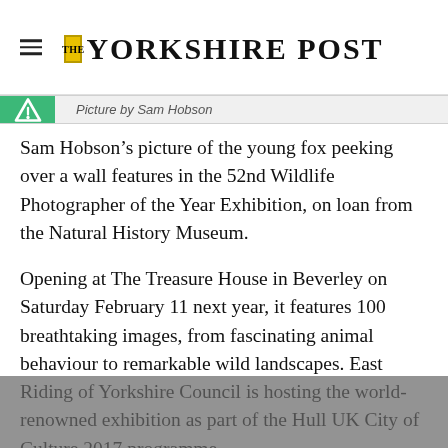THE YORKSHIRE POST
Picture by Sam Hobson
Sam Hobson’s picture of the young fox peeking over a wall features in the 52nd Wildlife Photographer of the Year Exhibition, on loan from the Natural History Museum.
Opening at The Treasure House in Beverley on Saturday February 11 next year, it features 100 breathtaking images, from fascinating animal behaviour to remarkable wild landscapes. East Riding of Yorkshire Council is hosting the world-renowned exhibition as part of the Hull UK City of Culture 2017 programme.